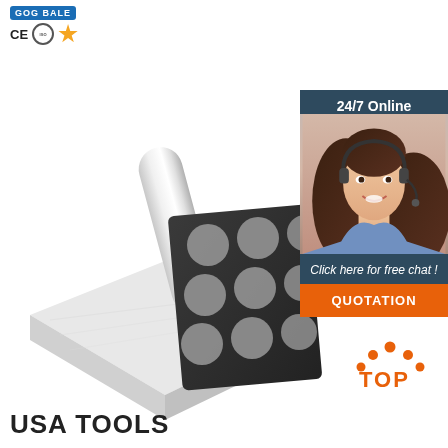CE ISO Gold Badge certification icons
[Figure (photo): Product photo of a metallic cylindrical tool/roller on a marble/granite block surface, with a black foam pad containing circular hole cutouts, displayed on a white background]
[Figure (infographic): 24/7 Online chat support panel with a female customer service agent wearing a headset, with text 'Click here for free chat!' and an orange QUOTATION button]
[Figure (logo): Orange TOP logo with dots arranged in a triangle above the word TOP]
USA TOOLS